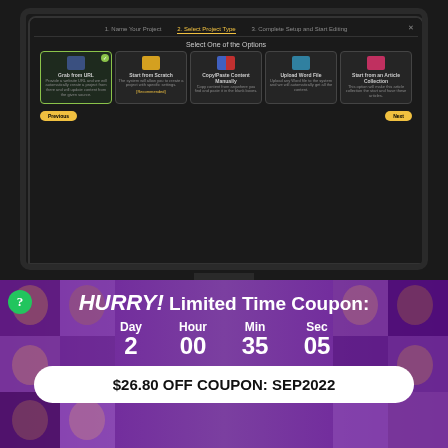[Figure (screenshot): Dark-themed web application dialog on a monitor. Dialog shows 'Select One of the Options' with 5 project type cards: Grab from URL (selected), Start from Scratch (Recommended), Copy/Paste Content Manually, Upload Word File, Start from an Article Collection. Yellow Previous and Next buttons at bottom. Shown on a dark monitor/display.]
[Figure (infographic): Countdown timer banner with purple-toned background showing faces. Text reads HURRY! Limited Time Coupon: Day 2 Hour 00 Min 35 Sec 05. White pill-shaped badge shows $26.80 OFF COUPON: SEP2022]